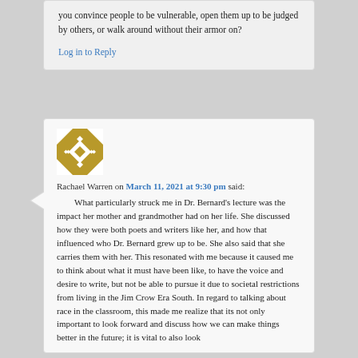you convince people to be vulnerable, open them up to be judged by others, or walk around without their armor on?
Log in to Reply
[Figure (illustration): Golden/yellow quilt-pattern avatar image for user Rachael Warren]
Rachael Warren on March 11, 2021 at 9:30 pm said:
What particularly struck me in Dr. Bernard's lecture was the impact her mother and grandmother had on her life. She discussed how they were both poets and writers like her, and how that influenced who Dr. Bernard grew up to be. She also said that she carries them with her. This resonated with me because it caused me to think about what it must have been like, to have the voice and desire to write, but not be able to pursue it due to societal restrictions from living in the Jim Crow Era South. In regard to talking about race in the classroom, this made me realize that its not only important to look forward and discuss how we can make things better in the future; it is vital to also look